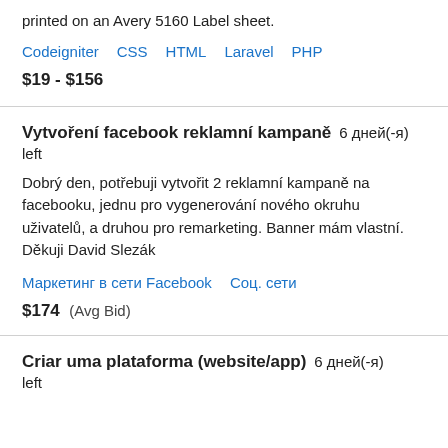printed on an Avery 5160 Label sheet.
Codeigniter   CSS   HTML   Laravel   PHP
$19 - $156
Vytvoření facebook reklamní kampaně   6 дней(-я) left
Dobrý den, potřebuji vytvořit 2 reklamní kampaně na facebooku, jednu pro vygenerování nového okruhu uživatelů, a druhou pro remarketing. Banner mám vlastní. Děkuji David Slezák
Маркетинг в сети Facebook   Соц. сети
$174  (Avg Bid)
Criar uma plataforma (website/app)   6 дней(-я) left